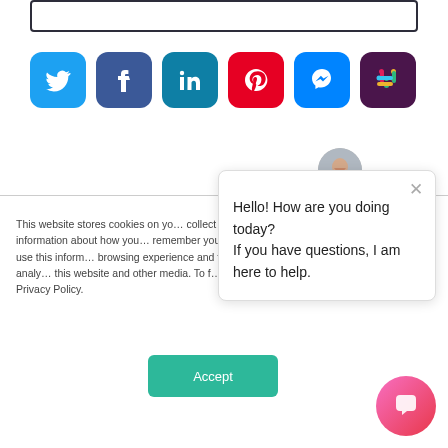[Figure (screenshot): Top border input box area]
[Figure (infographic): Row of six social media icons: Twitter, Facebook, LinkedIn, Pinterest, Messenger, Slack]
This website stores cookies on your computer to collect information about how you interact with our website and allow us to remember you. We use this information in order to improve and customize your browsing experience and for analytics and metrics about our visitors both on this website and other media. To find out more about the cookies we use, see our Privacy Policy.
[Figure (screenshot): Chat popup with avatar and message: Hello! How are you doing today? If you have questions, I am here to help.]
[Figure (screenshot): Accept button (teal/green)]
[Figure (screenshot): Pink/red circular chat launcher button at bottom right]